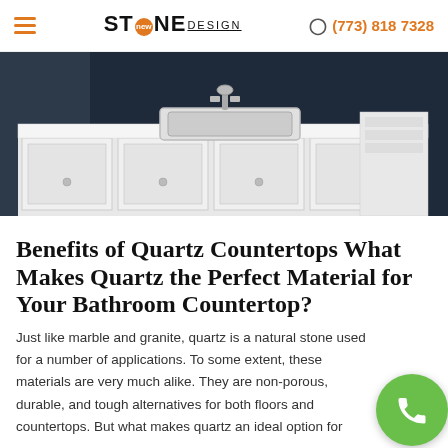STONE new DESIGN | (773) 818 7328
[Figure (photo): White bathroom vanity with rectangular undermount sink, chrome faucet, and white cabinetry against a dark navy wall]
Benefits of Quartz Countertops What Makes Quartz the Perfect Material for Your Bathroom Countertop?
Just like marble and granite, quartz is a natural stone used for a number of applications. To some extent, these materials are very much alike. They are non-porous, durable, and tough alternatives for both floors and countertops. But what makes quartz an ideal option for